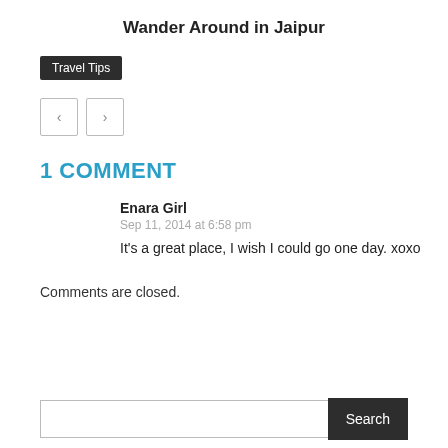Wander Around in Jaipur
Travel Tips
1 COMMENT
Enara Girl
Sep 11, 2014 at 6:58 pm
It's a great place, I wish I could go one day. xoxo
Comments are closed.